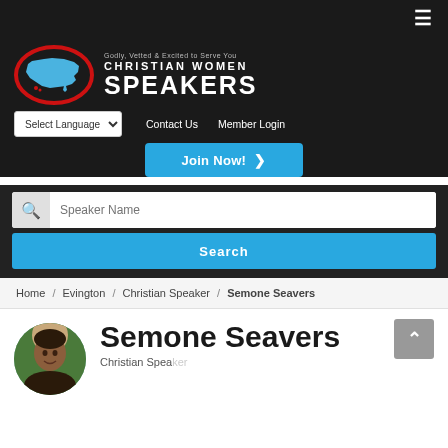Christian Women Speakers — Godly, Vetted & Excited to Serve You
Select Language | Contact Us | Member Login
Join Now!
Speaker Name [search box] Search
Home / Evington / Christian Speaker / Semone Seavers
Semone Seavers
Christian Speaker